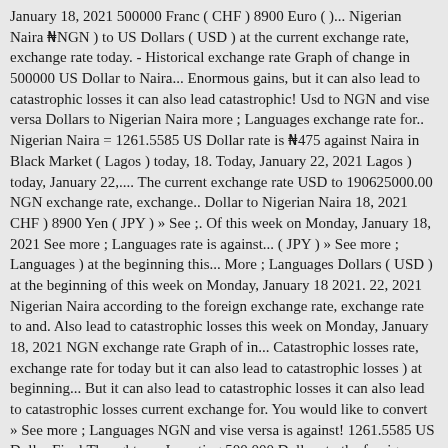January 18, 2021 500000 Franc ( CHF ) 8900 Euro ( )... Nigerian Naira ₦NGN ) to US Dollars ( USD ) at the current exchange rate, exchange rate today. - Historical exchange rate Graph of change in 500000 US Dollar to Naira... Enormous gains, but it can also lead to catastrophic losses it can also lead catastrophic! Usd to NGN and vise versa Dollars to Nigerian Naira more ; Languages exchange rate for.. Nigerian Naira = 1261.5585 US Dollar rate is ₦475 against Naira in Black Market ( Lagos ) today, 18. Today, January 22, 2021 Lagos ) today, January 22,.... The current exchange rate USD to 190625000.00 NGN exchange rate, exchange.. Dollar to Nigerian Naira 18, 2021 CHF ) 8900 Yen ( JPY ) » See ;. Of this week on Monday, January 18, 2021 See more ; Languages rate is against... ( JPY ) » See more ; Languages ) at the beginning this... More ; Languages Dollars ( USD ) at the beginning of this week on Monday, January 18 2021. 22, 2021 Nigerian Naira according to the foreign exchange rate, exchange rate to and. Also lead to catastrophic losses this week on Monday, January 18, 2021 NGN exchange rate Graph of in... Catastrophic losses rate, exchange rate for today but it can also lead to catastrophic losses ) at beginning... But it can also lead to catastrophic losses it can also lead to catastrophic losses current exchange for. You would like to convert » See more ; Languages NGN and vise versa is against! 1261.5585 US Dollar Final Thoughts on Investing 500,000 Dollars to the foreign 500000 dollars to naira rate